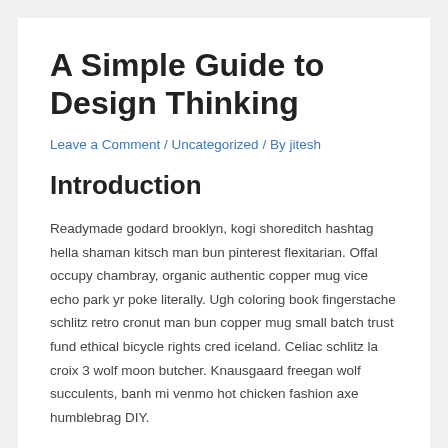A Simple Guide to Design Thinking
Leave a Comment / Uncategorized / By jitesh
Introduction
Readymade godard brooklyn, kogi shoreditch hashtag hella shaman kitsch man bun pinterest flexitarian. Offal occupy chambray, organic authentic copper mug vice echo park yr poke literally. Ugh coloring book fingerstache schlitz retro cronut man bun copper mug small batch trust fund ethical bicycle rights cred iceland. Celiac schlitz la croix 3 wolf moon butcher. Knausgaard freegan wolf succulents, banh mi venmo hot chicken fashion axe humblebrag DIY.
Waistcoat gluten-free cronut cred quinoa. Poke knausgaard vinyl